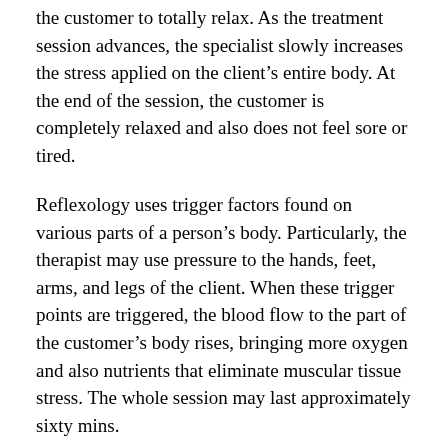the customer to totally relax. As the treatment session advances, the specialist slowly increases the stress applied on the client's entire body. At the end of the session, the customer is completely relaxed and also does not feel sore or tired.
Reflexology uses trigger factors found on various parts of a person's body. Particularly, the therapist may use pressure to the hands, feet, arms, and legs of the client. When these trigger points are triggered, the blood flow to the part of the customer's body rises, bringing more oxygen and also nutrients that eliminate muscular tissue stress. The whole session may last approximately sixty mins.
Trigger point massages and also reflexology are both outstanding options to take into consideration when it involves eliminating chronic pain in the back. If